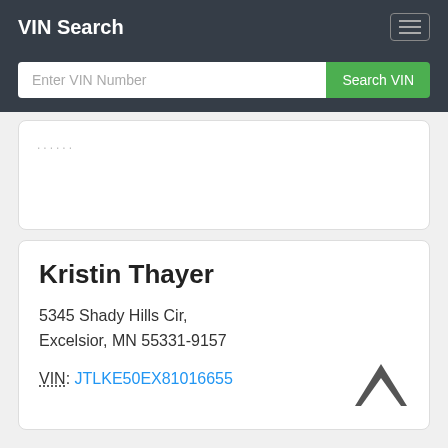VIN Search
Enter VIN Number
Search VIN
......
Kristin Thayer
5345 Shady Hills Cir, Excelsior, MN 55331-9157
VIN: JTLKE50EX81016655